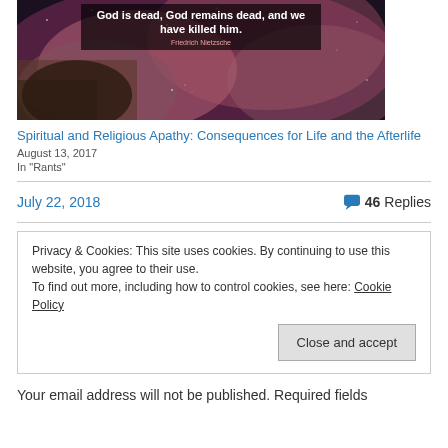[Figure (photo): Space nebula background image with overlaid quote text: 'God is dead, God remains dead, and we have killed him.' attributed to Friedrich Nietzsche]
Spiritual and Religious Apathy: Consequences for Life and the Afterlife
August 13, 2017
In "Rants"
July 22, 2018
46 Replies
Privacy & Cookies: This site uses cookies. By continuing to use this website, you agree to their use.
To find out more, including how to control cookies, see here: Cookie Policy
Close and accept
Your email address will not be published. Required fields